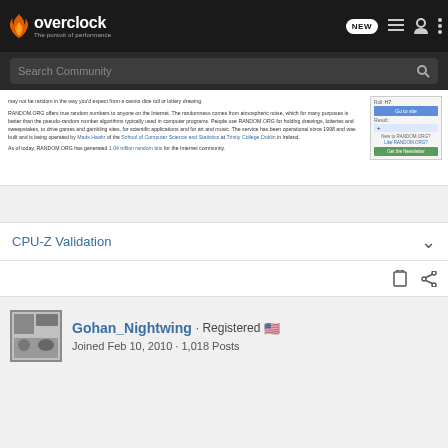overclock.net – The pursuit of performance
Search Community
may not be random in the way you'd expect from a casino dice roll or lottery drawing.

RANDOM.ORG offers true random numbers to anyone on the Internet. The randomness comes from atmospheric noise, which for many purposes is better than the pseudo-random number algorithms typically used in computer programs. People use RANDOM.ORG for holding drawings, lotteries and sweepstakes, to drive games and gambling sites, for scientific applications and for art and music. The service has been operational since 1998 and was built and is being operated by Mads Haahr of the School of Computer Science and Statistics at Trinity College Dublin in Ireland.

As of today, RANDOM.ORG has generated 1.04 trillion random bits for the Internet community.
CPU-Z Validation
Gohan_Nightwing · Registered 🇺🇸
Joined Feb 10, 2010 · 1,018 Posts